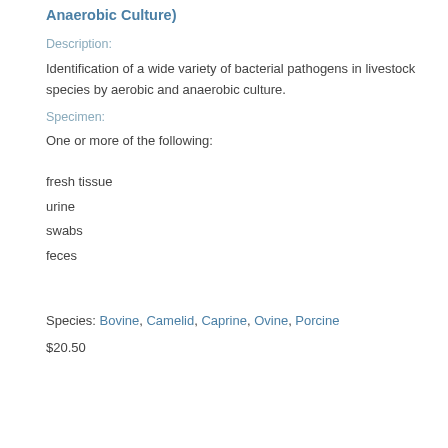Anaerobic Culture)
Description:
Identification of a wide variety of bacterial pathogens in livestock species by aerobic and anaerobic culture.
Specimen:
One or more of the following:
fresh tissue
urine
swabs
feces
Species: Bovine, Camelid, Caprine, Ovine, Porcine
$20.50